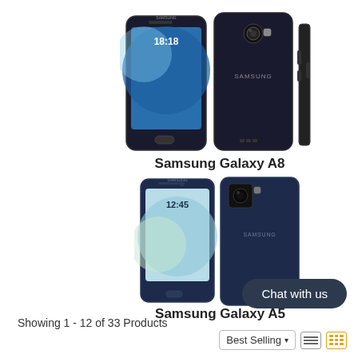[Figure (photo): Samsung Galaxy A8 smartphone shown from front, back, and side views. Dark blue/black color. Front shows blue wallpaper with time 18:18. Back shows Samsung logo and camera. Side view shows thin profile.]
Samsung Galaxy A8
[Figure (photo): Samsung Galaxy A5 smartphone shown from front and back views. Dark blue/black color. Front shows light blue/green wave wallpaper with time 12:45. Back shows Samsung logo and camera.]
Samsung Galaxy A5
Showing 1 - 12 of 33 Products
Chat with us
Best Selling